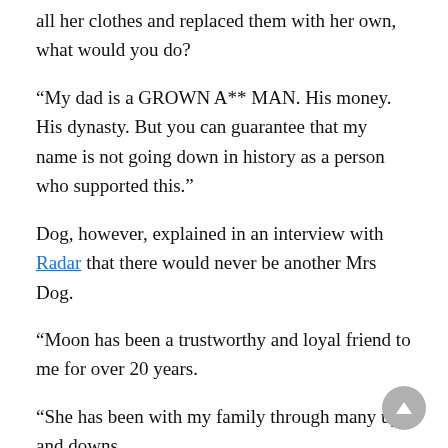all her clothes and replaced them with her own, what would you do?
“My dad is a GROWN A** MAN. His money. His dynasty. But you can guarantee that my name is not going down in history as a person who supported this.”
Dog, however, explained in an interview with Radar that there would never be another Mrs Dog.
“Moon has been a trustworthy and loyal friend to me for over 20 years.
“She has been with my family through many ups and downs.
“All my children are grown and gone on their own, there’s no one left to help me.